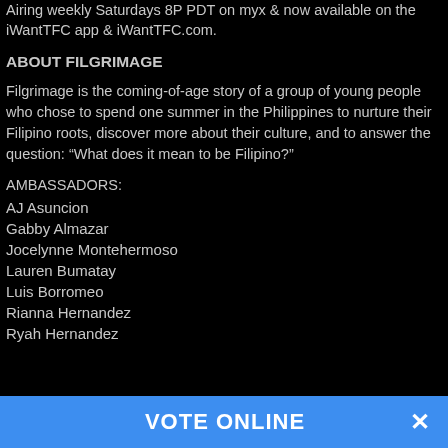Airing weekly Saturdays 8P PDT on myx & now available on the iWantTFC app & iWantTFC.com.
ABOUT FILGRIMAGE
Filgrimage is the coming-of-age story of a group of young people who chose to spend one summer in the Philippines to nurture their Filipino roots, discover more about their culture, and to answer the question: “What does it mean to be Filipino?”
AMBASSADORS:
AJ Asuncion
Gabby Almazar
Jocelynne Montehermoso
Lauren Bumatay
Luis Borromeo
Rianna Hernandez
Ryah Hernandez
VOTE ONLINE